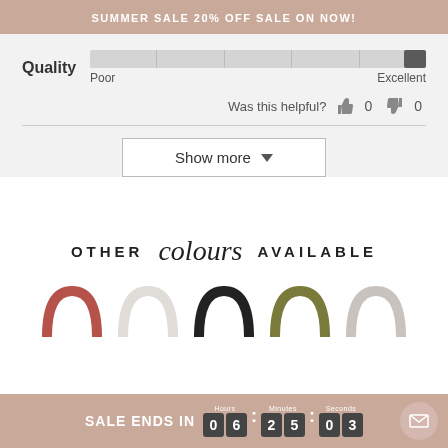SUMMER SALE 20% OFF SALE ON NOW!
[Figure (infographic): Quality slider bar showing a rating from Poor to Excellent, with the indicator positioned near Excellent]
Was this helpful? 👍 0 👎 0
Show more ▼
[Figure (infographic): OTHER colours AVAILABLE text with cursive script for 'colours']
[Figure (infographic): Row of crescent/arch shape colour swatches: terracotta/red, white, black, olive/green, beige/white]
SALE ENDS IN 0 6 : 2 5 : 0 3  Hours Minutes Seconds